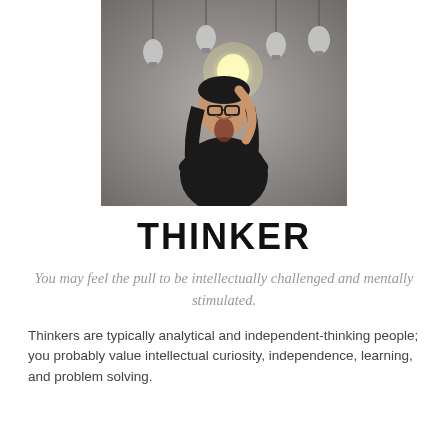[Figure (photo): A woman wearing glasses and a black outfit holding up a glowing light bulb, with several light bulbs hanging from the ceiling in the background.]
THINKER
You may feel the pull to be intellectually challenged and mentally stimulated.
Thinkers are typically analytical and independent-thinking people; you probably value intellectual curiosity, independence, learning, and problem solving.